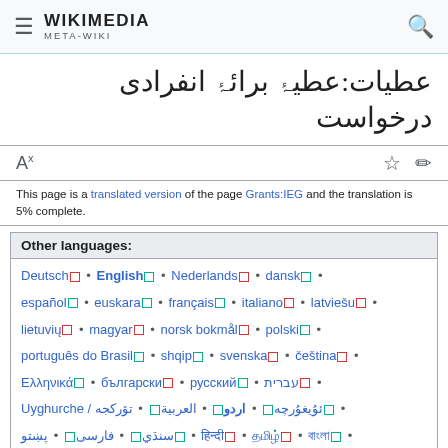WIKIMEDIA META-WIKI
عطیات:عطیۂ برائۂ انفرادی درخواست
This page is a translated version of the page Grants:IEG and the translation is 5% complete.
Other languages:
Deutsch • English • Nederlands • dansk • español • euskara • français • italiano • latviešu • lietuvių • magyar • norsk bokmål • polski • português do Brasil • shqip • svenska • čeština • Ελληνικά • български • русский • עברית • Uyghurche / ئۇيغۇرچە • اردو • العربية • تۆركجه • سنڌي • فارسی • پښتو